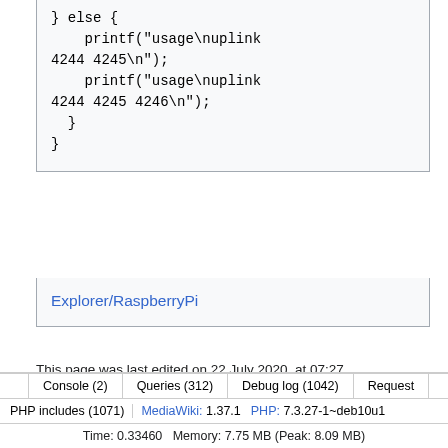} else {
    printf("usage\nuplink 4244 4245\n");
    printf("usage\nuplink 4244 4245 4246\n");
  }
}
Explorer/RaspberryPi
This page was last edited on 22 July 2020, at 07:27.
Content is available under GNU Free Documentation License 1.3 or later unless otherwise noted.
Console (2)  Queries (312)  Debug log (1042)  Request
PHP includes (1071)  MediaWiki: 1.37.1  PHP: 7.3.27-1~deb10u1
Time: 0.33460  Memory: 7.75 MB (Peak: 8.09 MB)